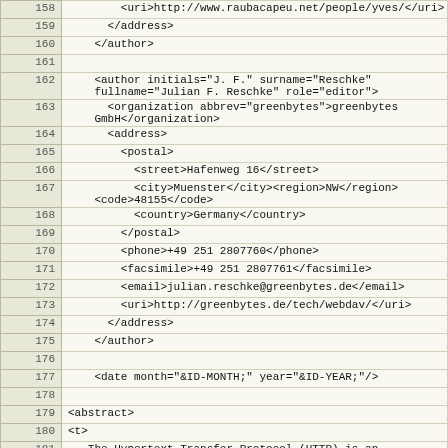| line | code |
| --- | --- |
| 158 |         <uri>http://www.raubacapeu.net/people/yves/</uri> |
| 159 |       </address> |
| 160 |     </author> |
| 161 |  |
| 162 |     <author initials="J. F." surname="Reschke"
    fullname="Julian F. Reschke" role="editor"> |
| 163 |       <organization abbrev="greenbytes">greenbytes
    GmbH</organization> |
| 164 |       <address> |
| 165 |         <postal> |
| 166 |           <street>Hafenweg 16</street> |
| 167 |           <city>Muenster</city><region>NW</region>
    <code>48155</code> |
| 168 |           <country>Germany</country> |
| 169 |         </postal> |
| 170 |         <phone>+49 251 2807760</phone> |
| 171 |         <facsimile>+49 251 2807761</facsimile> |
| 172 |         <email>julian.reschke@greenbytes.de</email> |
| 173 |         <uri>http://greenbytes.de/tech/webdav/</uri> |
| 174 |       </address> |
| 175 |     </author> |
| 176 |  |
| 177 |     <date month="&ID-MONTH;" year="&ID-YEAR;"/> |
| 178 |  |
| 179 | <abstract> |
| 180 | <t> |
| 181 |    The Hypertext Transfer Protocol (HTTP) is an
    application-level |
| 182 |    protocol for distributed, collaborative, hypermedia
    information |
| 183 |    systems. HTTP has been in use by the World Wide Web
    global information |
| 184 |    initiative since 1990. This document is Part 7 of the |